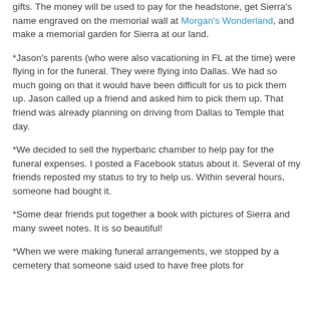gifts. The money will be used to pay for the headstone, get Sierra's name engraved on the memorial wall at Morgan's Wonderland, and make a memorial garden for Sierra at our land.
*Jason's parents (who were also vacationing in FL at the time) were flying in for the funeral. They were flying into Dallas. We had so much going on that it would have been difficult for us to pick them up. Jason called up a friend and asked him to pick them up. That friend was already planning on driving from Dallas to Temple that day.
*We decided to sell the hyperbaric chamber to help pay for the funeral expenses. I posted a Facebook status about it. Several of my friends reposted my status to try to help us. Within several hours, someone had bought it.
*Some dear friends put together a book with pictures of Sierra and many sweet notes. It is so beautiful!
*When we were making funeral arrangements, we stopped by a cemetery that someone said used to have free plots for